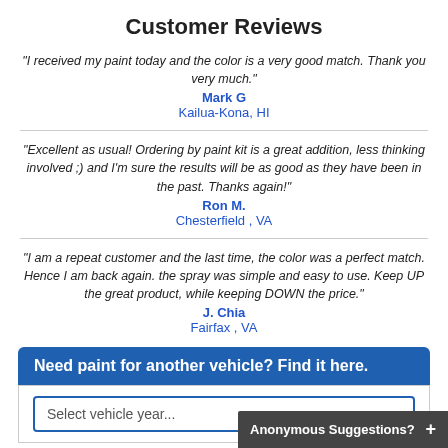Customer Reviews
"I received my paint today and the color is a very good match. Thank you very much."
Mark G
Kailua-Kona, HI
"Excellent as usual! Ordering by paint kit is a great addition, less thinking involved ;) and I'm sure the results will be as good as they have been in the past. Thanks again!"
Ron M.
Chesterfield , VA
"I am a repeat customer and the last time, the color was a perfect match. Hence I am back again. the spray was simple and easy to use. Keep UP the great product, while keeping DOWN the price."
J. Chia
Fairfax , VA
Need paint for another vehicle? Find it here.
Select vehicle year...
Anonymous Suggestions?